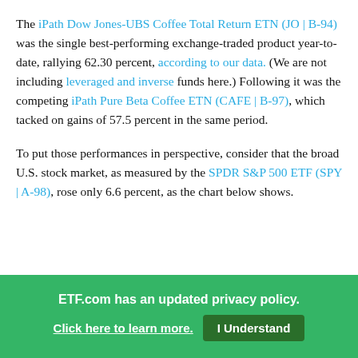The iPath Dow Jones-UBS Coffee Total Return ETN (JO | B-94) was the single best-performing exchange-traded product year-to-date, rallying 62.30 percent, according to our data. (We are not including leveraged and inverse funds here.) Following it was the competing iPath Pure Beta Coffee ETN (CAFE | B-97), which tacked on gains of 57.5 percent in the same period.
To put those performances in perspective, consider that the broad U.S. stock market, as measured by the SPDR S&P 500 ETF (SPY | A-98), rose only 6.6 percent, as the chart below shows.
[Figure (screenshot): StockCharts.com chart strip for JO Path Dow Jones-AIG Coffee Total Return Sub-Index NYSE+BATS. Date: 27-Jun-2014 9:34am. Op 35.00, Hi 35.07, Lo 35.00, Last 35.07, Vol 300, Chg +0.02 (+0.06%)]
ETF.com has an updated privacy policy. Click here to learn more. I Understand